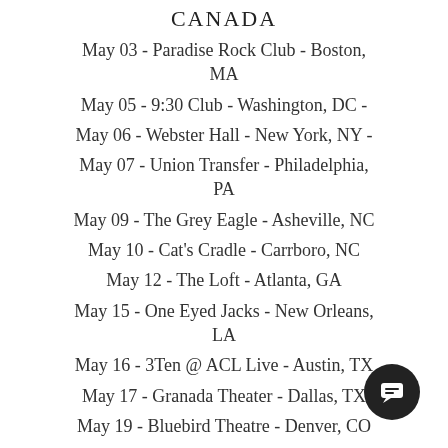CANADA
May 03 - Paradise Rock Club - Boston, MA
May 05 - 9:30 Club - Washington, DC -
May 06 - Webster Hall - New York, NY -
May 07 - Union Transfer - Philadelphia, PA
May 09 - The Grey Eagle - Asheville, NC
May 10 - Cat's Cradle - Carrboro, NC
May 12 - The Loft - Atlanta, GA
May 15 - One Eyed Jacks - New Orleans, LA
May 16 - 3Ten @ ACL Live - Austin, TX
May 17 - Granada Theater - Dallas, TX
May 19 - Bluebird Theatre - Denver, CO
May 22 - Doug Fir Lounge - Portland, OR
May 23 - The Showbox - Seattle,
May 26 - August Hall - San Francisco,